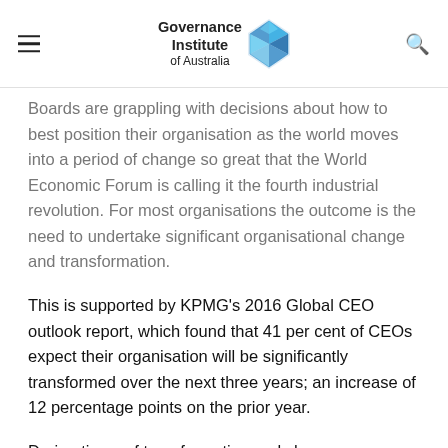Governance Institute of Australia
Boards are grappling with decisions about how to best position their organisation as the world moves into a period of change so great that the World Economic Forum is calling it the fourth industrial revolution. For most organisations the outcome is the need to undertake significant organisational change and transformation.
This is supported by KPMG's 2016 Global CEO outlook report, which found that 41 per cent of CEOs expect their organisation will be significantly transformed over the next three years; an increase of 12 percentage points on the prior year.
During times of transformation and change, organisations make critical decisions that can shape and impact the